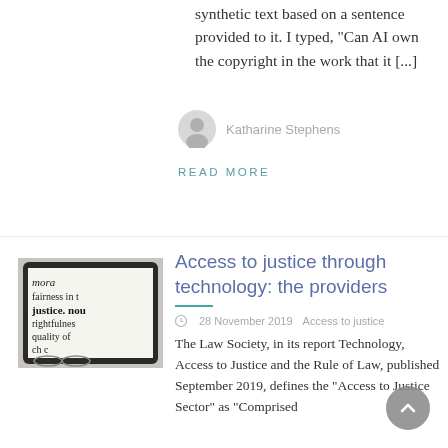synthetic text based on a sentence provided to it. I typed, "Can AI own the copyright in the work that it [...]
Katharine Stephens
READ MORE
[Figure (photo): A tablet or e-reader displaying dictionary definitions including words: mora, fairness, justice. noun, rightfulness, quality of]
Access to justice through technology: the providers
28 November 2019   Access to justice
The Law Society, in its report Technology, Access to Justice and the Rule of Law, published September 2019, defines the "Access to Justice Sector" as "Comprised